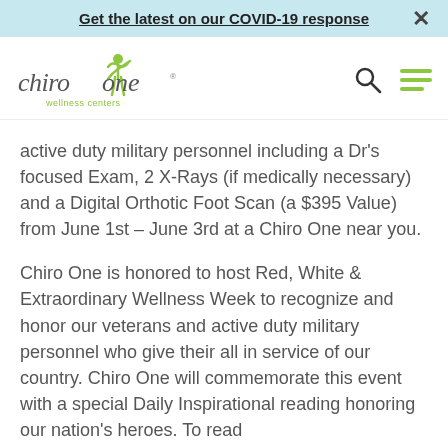Get the latest on our COVID-19 response
[Figure (logo): Chiro One Wellness Centers logo — green figure with outstretched arms, text 'chiro one wellness centers' in grey/green]
active duty military personnel including a Dr’s focused Exam, 2 X-Rays (if medically necessary) and a Digital Orthotic Foot Scan (a $395 Value) from June 1st – June 3rd at a Chiro One near you.
Chiro One is honored to host Red, White & Extraordinary Wellness Week to recognize and honor our veterans and active duty military personnel who give their all in service of our country. Chiro One will commemorate this event with a special Daily Inspirational reading honoring our nation’s heroes. To read